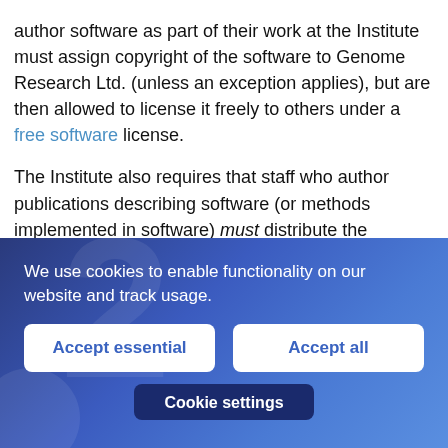author software as part of their work at the Institute must assign copyright of the software to Genome Research Ltd. (unless an exception applies), but are then allowed to license it freely to others under a free software license.
The Institute also requires that staff who author publications describing software (or methods implemented in software) must distribute the associated software publicly under a free software license by the time the article is published. Unless it supports published work, researchers are not required to distribute their software to anyone, but nonetheless many
[Figure (screenshot): Cookie consent banner with blue gradient background, decorative number '2' watermark, cookie usage message, 'Accept essential' and 'Accept all' buttons (white with blue text), and partially visible 'Cookie settings' dark button at bottom.]